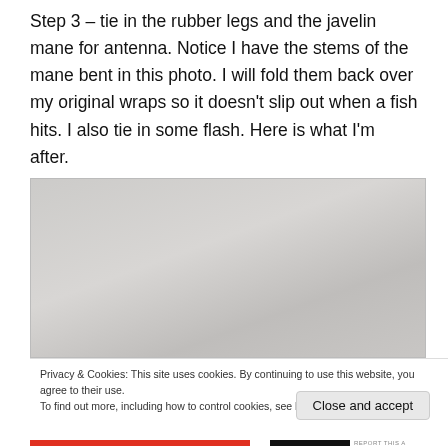Step 3 – tie in the rubber legs and the javelin mane for antenna. Notice I have the stems of the mane bent in this photo. I will fold them back over my original wraps so it doesn't slip out when a fish hits. I also tie in some flash. Here is what I'm after.
[Figure (photo): A close-up photo showing a light gray/beige surface, likely a fly-tying step showing materials on a hook or surface.]
Privacy & Cookies: This site uses cookies. By continuing to use this website, you agree to their use.
To find out more, including how to control cookies, see here: Cookie Policy
Close and accept